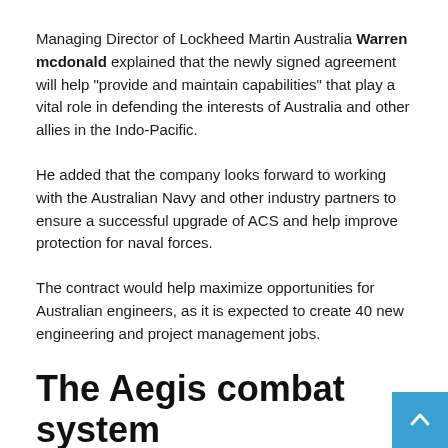Managing Director of Lockheed Martin Australia Warren mcdonald explained that the newly signed agreement will help "provide and maintain capabilities" that play a vital role in defending the interests of Australia and other allies in the Indo-Pacific.
He added that the company looks forward to working with the Australian Navy and other industry partners to ensure a successful upgrade of ACS and help improve protection for naval forces.
The contract would help maximize opportunities for Australian engineers, as it is expected to create 40 new engineering and project management jobs.
The Aegis combat system
Widely regarded as the world's most advanced combat system, the ACS is a naval warfare suite, equipped with the SPY-1 multi-